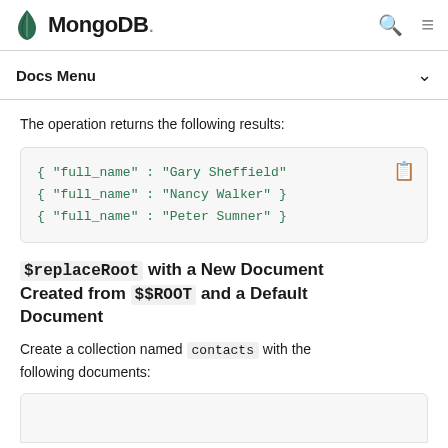MongoDB. [search icon] [menu icon]
Docs Menu
The operation returns the following results:
[Figure (screenshot): Code block showing MongoDB query results: { "full_name" : "Gary Sheffield" }  { "full_name" : "Nancy Walker" }  { "full_name" : "Peter Sumner" }]
$replaceRoot with a New Document Created from $$ROOT and a Default Document
Create a collection named contacts with the following documents: